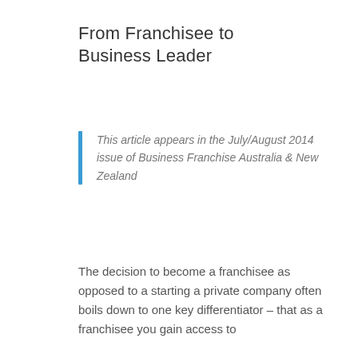From Franchisee to Business Leader
This article appears in the July/August 2014 issue of Business Franchise Australia & New Zealand
The decision to become a franchisee as opposed to a starting a private company often boils down to one key differentiator – that as a franchisee you gain access to